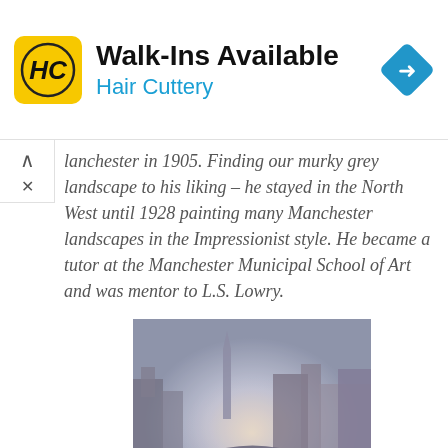[Figure (other): Hair Cuttery advertisement banner with yellow HC logo, 'Walk-Ins Available' headline, 'Hair Cuttery' subtitle in blue, and a blue navigation arrow icon]
...anchester in 1903. Finding our murky grey landscape to his liking – he stayed in the North West until 1928 painting many Manchester landscapes in the Impressionist style. He became a tutor at the Manchester Municipal School of Art and was mentor to L.S. Lowry.
[Figure (photo): Impressionist painting of a Manchester cityscape showing a bridge over water with misty grey-blue tones, buildings and a church spire in the background]